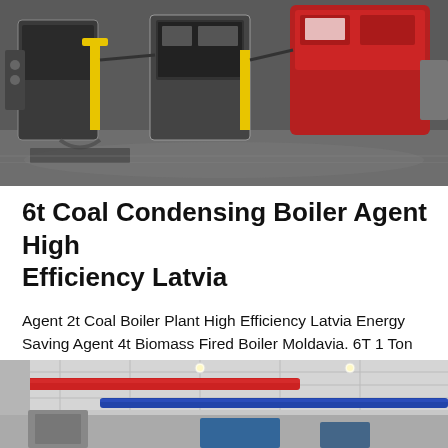[Figure (photo): Industrial boiler room with multiple boilers and yellow pipe fittings on a polished floor]
6t Coal Condensing Boiler Agent High Efficiency Latvia
Agent 2t Coal Boiler Plant High Efficiency Latvia Energy Saving Agent 4t Biomass Fired Boiler Moldavia. 6T 1 Ton Boiler Agent Fuel Consumption Steam Boiler … 10 Ton Oil Steam Boiler - cmp-h.org.uk. WNS 1t 2t 3t 4t 6t 8t 10t...
Get Price
[Figure (photo): Interior of an industrial facility with red and blue pipes on the ceiling]